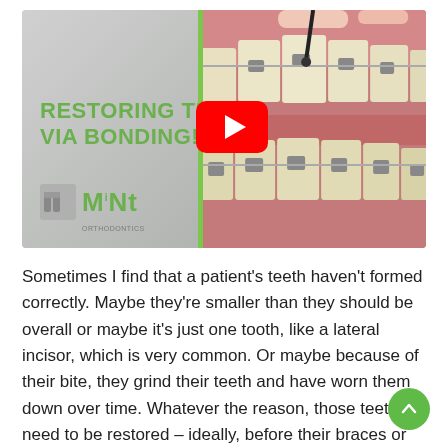[Figure (screenshot): YouTube video thumbnail showing dental braces and teeth bonding procedure. Left side has gray background with green text 'RESTORING TEETH VIA BONDING!' and MINT Orthodontics logo. Right side shows close-up photo of teeth with metal braces. A red YouTube play button is overlaid in the center.]
Sometimes I find that a patient's teeth haven't formed correctly. Maybe they're smaller than they should be overall or maybe it's just one tooth, like a lateral incisor, which is very common. Or maybe because of their bite, they grind their teeth and have worn them down over time. Whatever the reason, those teeth need to be restored – ideally, before their braces or clear aligner treatment begins, but we can do it during treatment as well it